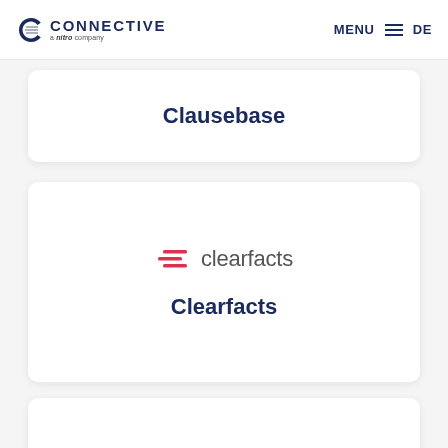CONNECTIVE a nitro company | MENU | DE
Clausebase
[Figure (logo): Clearfacts logo with red stacked lines icon and 'clearfacts' wordmark in grey]
Clearfacts